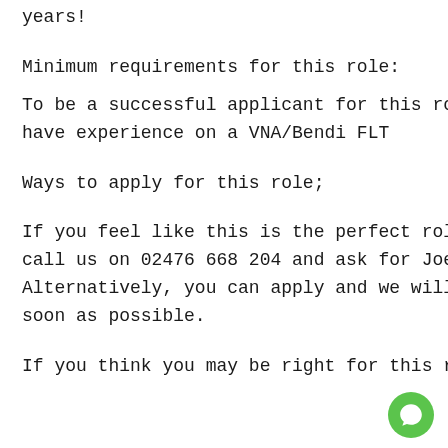years!
Minimum requirements for this role:
To be a successful applicant for this role, you must have experience on a VNA/Bendi FLT
Ways to apply for this role;
If you feel like this is the perfect role for you, please call us on 02476 668 204 and ask for Joe or Joanna. Alternatively, you can apply and we will contact you as soon as possible.
If you think you may be right for this role, but not